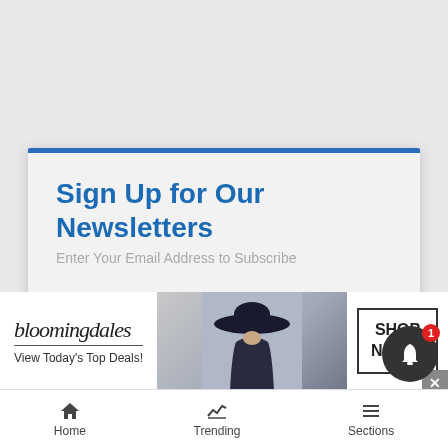Sign Up for Our Newsletters
Enter Your Email Address to Subscribe
Email
Required
SELECT
[Figure (screenshot): Bloomingdale's advertisement banner: logo text 'bloomingdales', tagline 'View Today's Top Deals!', photo of woman in wide-brim hat, and 'SHOP NOW >' button]
Home
Trending
Sections